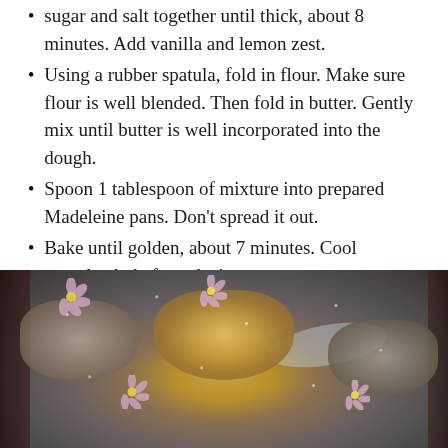sugar and salt together until thick, about 8 minutes. Add vanilla and lemon zest.
Using a rubber spatula, fold in flour. Make sure flour is well blended. Then fold in butter. Gently mix until butter is well incorporated into the dough.
Spoon 1 tablespoon of mixture into prepared Madeleine pans. Don’t spread it out.
Bake until golden, about 7 minutes. Cool completely before glazing.
Dip each cookie in your glaze. Let dry. Double dip again if so inclined. I did!
Sprinkle your Madeleines with icing sugar.
[Figure (photo): Close-up photo of glazed Madeleine cookies decorated with small pink flowers and dusted with icing sugar, on a light plate with dark background.]